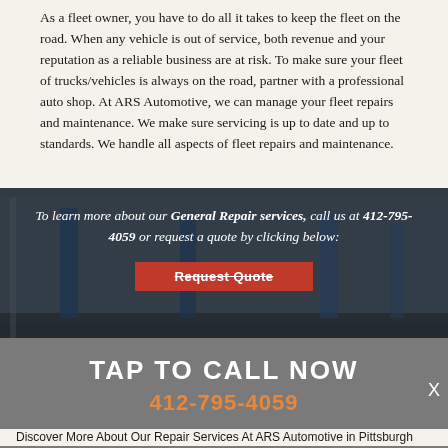As a fleet owner, you have to do all it takes to keep the fleet on the road. When any vehicle is out of service, both revenue and your reputation as a reliable business are at risk. To make sure your fleet of trucks/vehicles is always on the road, partner with a professional auto shop. At ARS Automotive, we can manage your fleet repairs and maintenance. We make sure servicing is up to date and up to standards. We handle all aspects of fleet repairs and maintenance.
[Figure (photo): Automotive garage/shop background image with overlay text reading: 'To learn more about our General Repair services, call us at 412-795-4059 or request a quote by clicking below:' and a red Request Quote button.]
TAP TO CALL NOW
412-795-4059
Discover More About Our Repair Services At ARS Automotive in Pittsburgh